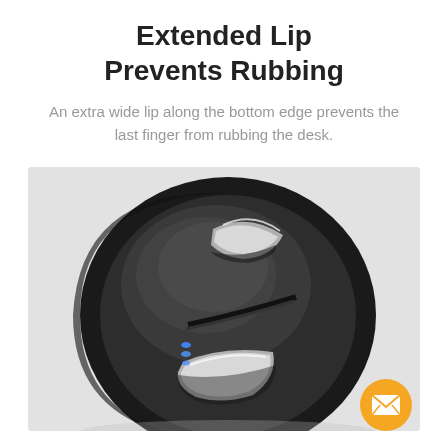Extended Lip Prevents Rubbing
An extra wide lip along the bottom edge prevents the last finger from rubbing the desk.
[Figure (photo): Close-up photo of a black ergonomic vertical mouse showing the extended lip at the bottom edge and silver accent buttons, with blue LED indicators visible on the side. An orange email/contact button appears in the bottom right corner.]